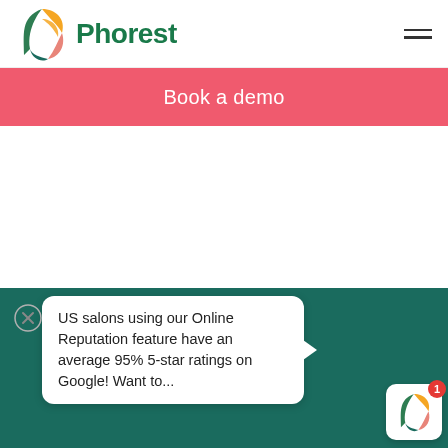[Figure (logo): Phorest logo with colorful circular icon and green Phorest text, hamburger menu icon on right]
Book a demo
[Figure (screenshot): White empty content area of a web page]
[Figure (screenshot): Teal background section with a white chat popup bubble showing: US salons using our Online Reputation feature have an average 95% 5-star ratings on Google! Want to... A close (X) button appears to the left of the bubble. Phorest chat icon with red notification badge (1) in bottom right corner.]